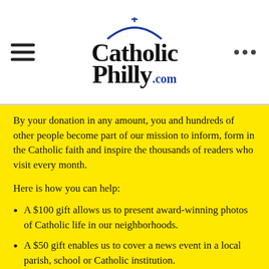[Figure (logo): CatholicPhilly.com logo with church arch and cross icon, hamburger menu icon on left, three-dots menu on right]
By your donation in any amount, you and hundreds of other people become part of our mission to inform, form in the Catholic faith and inspire the thousands of readers who visit every month.
Here is how you can help:
A $100 gift allows us to present award-winning photos of Catholic life in our neighborhoods.
A $50 gift enables us to cover a news event in a local parish, school or Catholic institution.
A $20 gift lets us obtain solid faith formation resources that can deepen your spirituality and knowledge of the